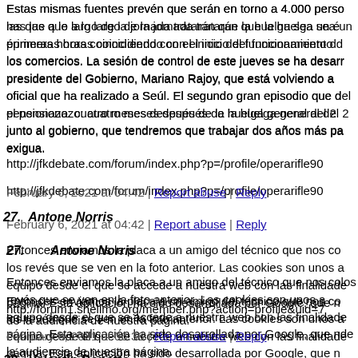Estas mismas fuentes prevén que serán en torno a 4.000 personas las que a lo largo de la jornada tratarán que la huelga sea un éxito primeras horas coincidiendo con el inicio del funcionamiento de los comercios. La sesión de control de este jueves se ha desarrollado con el presidente del Gobierno, Mariano Rajoy, que está volviendo a España del viaje oficial que ha realizado a Seúl. El segundo gran episodio que domina el debate es el pensionazo: cuatro meses después de la huelga general del 2010, acuerdo junto al gobierno, que tendremos que trabajar dos años más para una pensión exigua.
http://jfkdebate.com/forum/index.php?p=/profile/operarifle90
February 6, 2021 at 04:42 | Report abuse | Reply
27. Antone Norris
Entonces enviamos la placa a un amigo del técnico que nos co... los revés que se ven en la foto anterior. Las cookies son unos a... equipo desde el que se accede a nuestra web con las finalidade... página. Esta aplicación ha sido desarrollada por Google, que n... de la audiencia de nuestra página.
http://forum1.shellmo.org/member.php?action=profile&uid=7...
February 6, 2021 at 06:36 | Report abuse | Reply
28. Valentin Bonetto